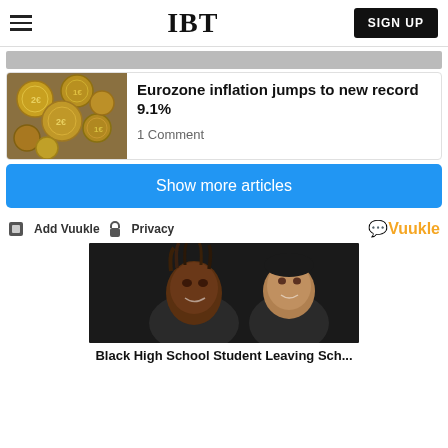IBT | SIGN UP
[Figure (photo): Partial image cropped at top of page]
[Figure (photo): Euro coins pile photo thumbnail]
Eurozone inflation jumps to new record 9.1%
1 Comment
Show more articles
Add Vuukle  Privacy  Vuukle
[Figure (photo): Black High School Student photo - two students smiling]
Black High School Student Leaving Sch...